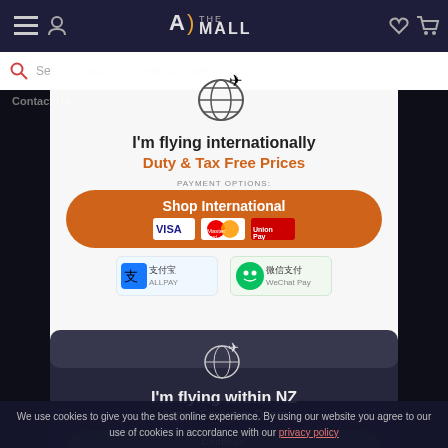THE MALL — navigation header with hamburger, user icon, logo, heart, cart
Search products, brands & more
Contact Us
[Figure (infographic): White modal popup: globe with airplane icon, text 'I'm flying internationally', 'Duty & Tax Free Prices' in orange, orange button 'Shop International', payment options showing VISA, MasterCard, UnionPay, Alipay (支付宝), WeChat Pay (微信支付). PAYMENT OPTIONS label above card logos.]
[Figure (infographic): Dark modal popup overlapping below: globe with airplane icon, text 'I'm flying within NZ', 'Airport Exclusive Offers', green button 'Shop Domestic']
We use cookies to give you the best online experience. By using our website you agree to our use of cookies in accordance with our privacy policy